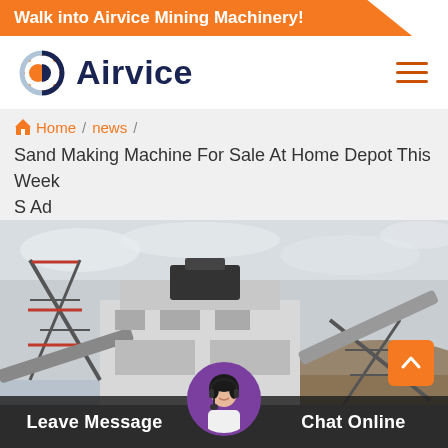Walk into Airvice Mining Machinery!
[Figure (logo): Airvice company logo with orange and blue circular icon and dark blue bold text 'Airvice']
Sand Making Machine For Sale At Home Depot This Week S Ad
Home / news /
[Figure (photo): Industrial mining machinery with conveyor belts and scaffolding against a cloudy sky and earthen hillside.]
Leave Message
Chat Online